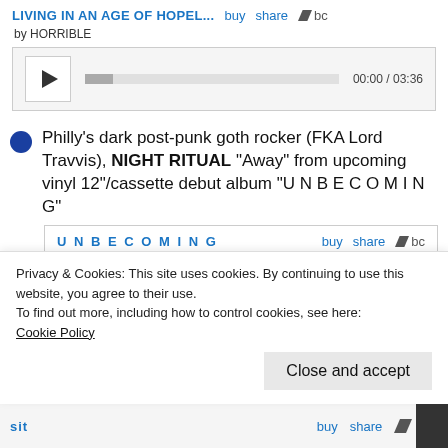[Figure (screenshot): Bandcamp music player for 'LIVING IN AN AGE OF HOPEL...' by HORRIBLE with play button, progress bar, and time display 00:00 / 03:36]
Philly's dark post-punk goth rocker (FKA Lord Travvis), NIGHT RITUAL "Away" from upcoming vinyl 12"/cassette debut album "U N B E C O M I N G"
[Figure (screenshot): Bandcamp embedded player for U N B E C O M I N G by Night Ritual, showing track 2. Away with time 00:00 / 03:04]
Privacy & Cookies: This site uses cookies. By continuing to use this website, you agree to their use. To find out more, including how to control cookies, see here: Cookie Policy
[Figure (screenshot): Bottom bar partially visible showing 'sit', buy, share, and Bandcamp logo links, with dark scrollbar tab]